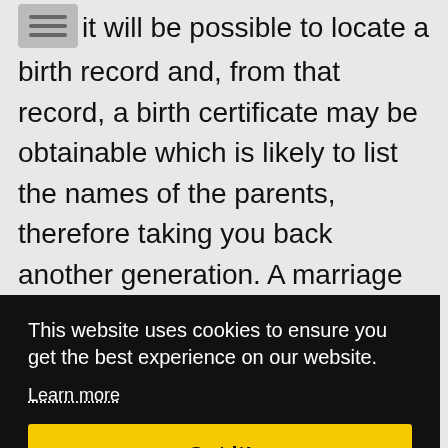it will be possible to locate a birth record and, from that record, a birth certificate may be obtainable which is likely to list the names of the parents, therefore taking you back another generation. A marriage certificate may also list the names of the respective fathers of the bride and groom which may then help you to find them earlier in life on a [partially obscured] detail [partially obscured] s, [partially obscured] t.
This website uses cookies to ensure you get the best experience on our website. Learn more Got it!